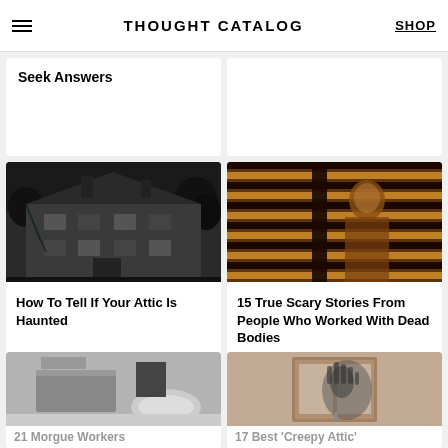THOUGHT CATALOG | SHOP
Seek Answers
[Figure (photo): Abandoned dark mansion in black and white]
How To Tell If Your Attic Is Haunted
[Figure (photo): Person peering through amber-lit venetian blinds]
15 True Scary Stories From People Who Worked With Dead Bodies
[Figure (photo): Black and white morgue or clinical room photo]
21 Morgue Workers
[Figure (photo): Shadowy figure pressing hand against frosted glass door]
17 Best 'Creepy Attic'